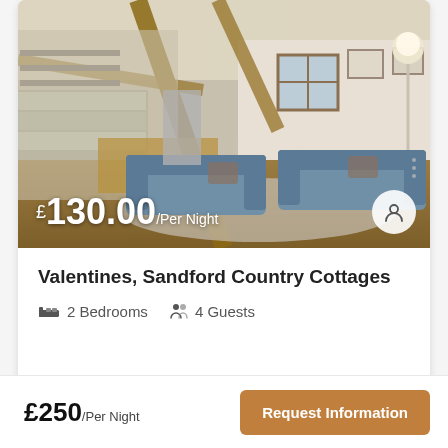[Figure (photo): Interior photo of a country cottage living room with two blue sofas, exposed wooden beams, open-plan kitchen and dining area, wooden floor, and a floor lamp. Price overlay reads £130.00/Per Night.]
Valentines, Sandford Country Cottages
2 Bedrooms   4 Guests
£250/Per Night
Request Information